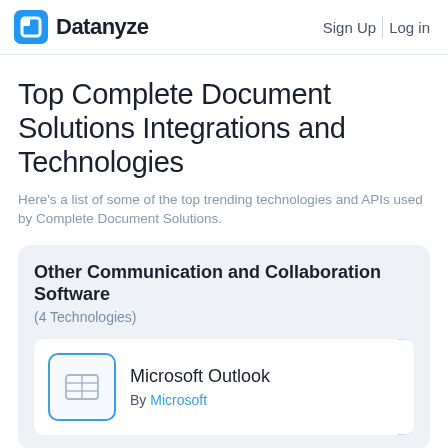Datanyze | Sign Up | Log in
Top Complete Document Solutions Integrations and Technologies
Here's a list of some of the top trending technologies and APIs used by Complete Document Solutions.
Other Communication and Collaboration Software
(4 Technologies)
Microsoft Outlook
By Microsoft